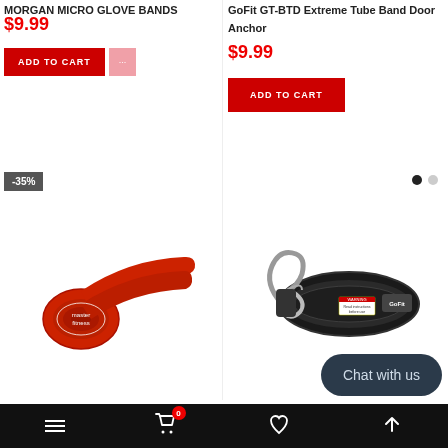MORGAN MICRO GLOVE BANDS
$9.99
ADD TO CART
GoFit GT-BTD Extreme Tube Band Door Anchor
$9.99
ADD TO CART
-35%
[Figure (photo): Red resistance loop band with Master brand logo]
[Figure (photo): Black GoFit padded door anchor strap with carabiner hook]
Chat with us
Navigation bar with menu, cart (0), wishlist, and scroll-up icons